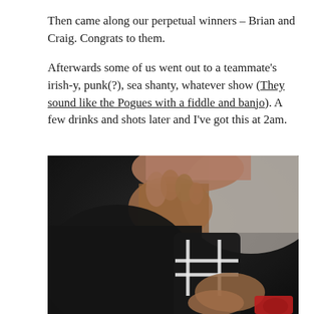Then came along our perpetual winners – Brian and Craig. Congrats to them.
Afterwards some of us went out to a teammate's irish-y, punk(?), sea shanty, whatever show (They sound like the Pogues with a fiddle and banjo). A few drinks and shots later and I've got this at 2am.
[Figure (photo): Close-up photo of a person in a black shirt holding a smartphone with a cross-hash symbol case, at 2am. The image is dimly lit and slightly blurry.]